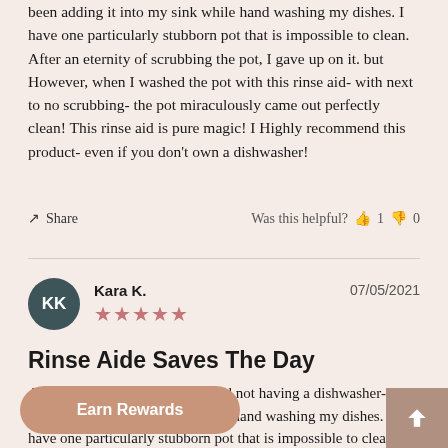been adding it into my sink while hand washing my dishes. I have one particularly stubborn pot that is impossible to clean. After an eternity of scrubbing the pot, I gave up on it. but However, when I washed the pot with this rinse aid- with next to no scrubbing- the pot miraculously came out perfectly clean! This rinse aid is pure magic! I Highly recommend this product- even if you don't own a dishwasher!
Share   Was this helpful? 👍 1 👎 0
Kara K.   07/05/2021   ★★★★★
Rinse Aide Saves The Day
After buying this by accident, and not having a dishwasher- I've been adding it into my sink while hand washing my dishes. I have one particularly stubborn pot that is impossible to clean. After an eternity of scrubbing the pot, I gave up on it. but However, when I washed the pot with this rinse aide- with next to no scrubbing- the pot miraculously came out perfectly clean! This rinse aid is pure magic! I Highly recommend this product- even if you don't own a dishwasher!